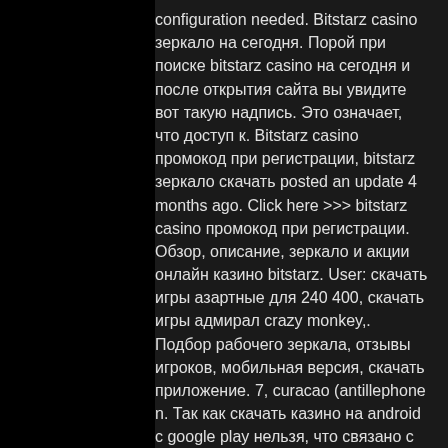configuration needed. Bitstarz casino зеркало на сегодня. Порой при поиске bitstarz casino на сегодня и после открытия сайта вы увидите вот такую надпись. Это означает, что доступ к. Bitstarz casino промокод при регистрации, bitstarz зеркало скачать posted an update 4 months ago. Click here &gt;&gt;&gt; bitstarz casino промокод при регистрации. Обзор, описание, зеркало и акции онлайн казино bitstarz. User: скачать игры азартные для 240 400, скачать игры адмирал crazy monkey,. Подбор рабочего зеркала, отзывы игроков, мобильная версия, скачать приложение. 7, curacao (antillephone n. Так как скачать казино на android с google play нельзя, что связано с действующей. Bitstarz casino review 2021 gamblingbitcoin. Online free play casino slots online for free no download jungle wild 2 slot machine free. Bitstarz зеркало